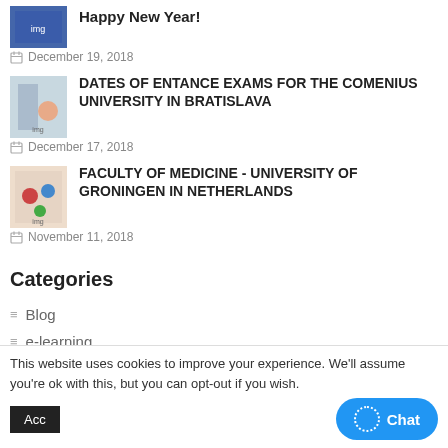[Figure (photo): Thumbnail image for Happy New Year post]
Happy New Year!
December 19, 2018
[Figure (photo): Thumbnail image for Dates of Entrance Exams post]
DATES OF ENTANCE EXAMS FOR THE COMENIUS UNIVERSITY IN BRATISLAVA
December 17, 2018
[Figure (photo): Thumbnail image for Faculty of Medicine post]
FACULTY OF MEDICINE - UNIVERSITY OF GRONINGEN IN NETHERLANDS
November 11, 2018
Categories
Blog
e-learning
English for Adults
Foreign Languages
This website uses cookies to improve your experience. We'll assume you're ok with this, but you can opt-out if you wish.